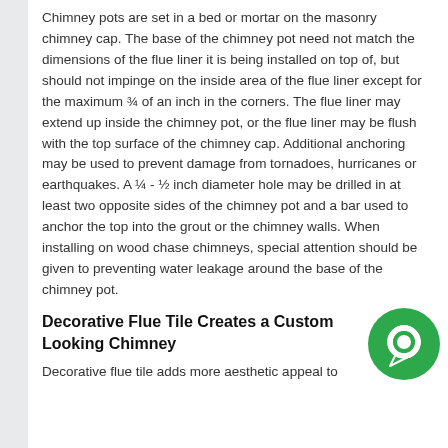Chimney pots are set in a bed or mortar on the masonry chimney cap. The base of the chimney pot need not match the dimensions of the flue liner it is being installed on top of, but should not impinge on the inside area of the flue liner except for the maximum ¾ of an inch in the corners. The flue liner may extend up inside the chimney pot, or the flue liner may be flush with the top surface of the chimney cap. Additional anchoring may be used to prevent damage from tornadoes, hurricanes or earthquakes. A ¼ - ½ inch diameter hole may be drilled in at least two opposite sides of the chimney pot and a bar used to anchor the top into the grout or the chimney walls. When installing on wood chase chimneys, special attention should be given to preventing water leakage around the base of the chimney pot.
Decorative Flue Tile Creates a Custom Looking Chimney
Decorative flue tile adds more aesthetic appeal to